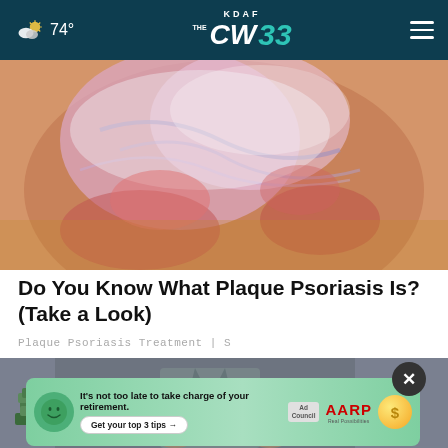74° KDAF CW33
[Figure (photo): Close-up photo of a foot/ankle with psoriasis skin condition showing red, inflamed, scaly skin]
Do You Know What Plaque Psoriasis Is? (Take a Look)
Plaque Psoriasis Treatment | S
[Figure (photo): Person in a suit surrounded by stacks of cash/money]
[Figure (infographic): AARP Ad Council advertisement banner: It's not too late to take charge of your retirement. Get your top 3 tips →]